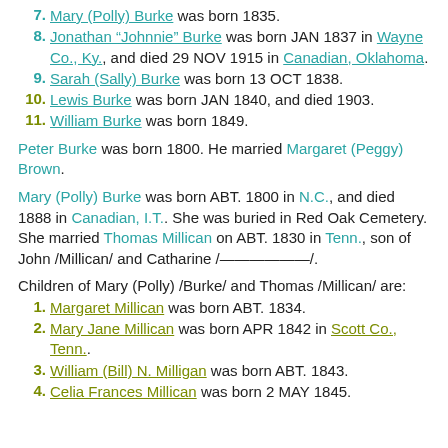7. Mary (Polly) Burke was born 1835.
8. Jonathan "Johnnie" Burke was born JAN 1837 in Wayne Co., Ky., and died 29 NOV 1915 in Canadian, Oklahoma.
9. Sarah (Sally) Burke was born 13 OCT 1838.
10. Lewis Burke was born JAN 1840, and died 1903.
11. William Burke was born 1849.
Peter Burke was born 1800. He married Margaret (Peggy) Brown.
Mary (Polly) Burke was born ABT. 1800 in N.C., and died 1888 in Canadian, I.T.. She was buried in Red Oak Cemetery. She married Thomas Millican on ABT. 1830 in Tenn., son of John /Millican/ and Catharine /-------------/.
Children of Mary (Polly) /Burke/ and Thomas /Millican/ are:
1. Margaret Millican was born ABT. 1834.
2. Mary Jane Millican was born APR 1842 in Scott Co., Tenn..
3. William (Bill) N. Milligan was born ABT. 1843.
4. Celia Frances Millican was born 2 MAY 1845.